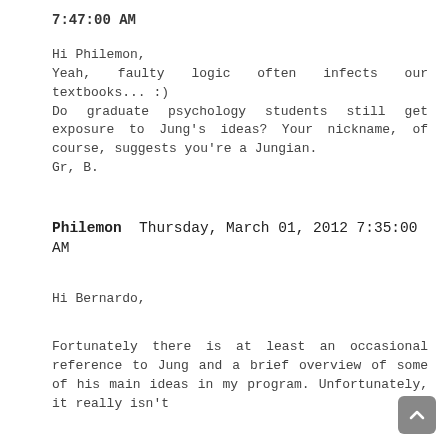7:47:00 AM
Hi Philemon,
Yeah, faulty logic often infects our textbooks... :)
Do graduate psychology students still get exposure to Jung's ideas? Your nickname, of course, suggests you're a Jungian.
Gr, B.
Philemon Thursday, March 01, 2012 7:35:00 AM
Hi Bernardo,
Fortunately there is at least an occasional reference to Jung and a brief overview of some of his main ideas in my program. Unfortunately, it really isn't